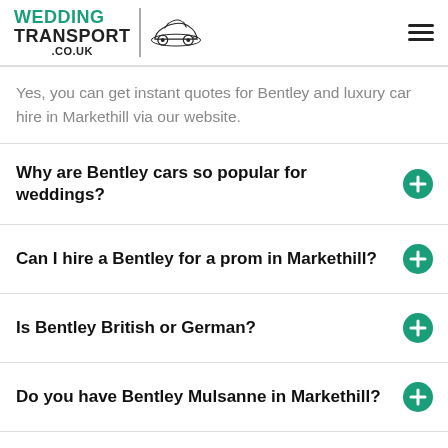Wedding Transport .co.uk
Yes, you can get instant quotes for Bentley and luxury car hire in Markethill via our website.
Why are Bentley cars so popular for weddings?
Can I hire a Bentley for a prom in Markethill?
Is Bentley British or German?
Do you have Bentley Mulsanne in Markethill?
Which Bentley is better? Mulsanne or the Flying Spur?